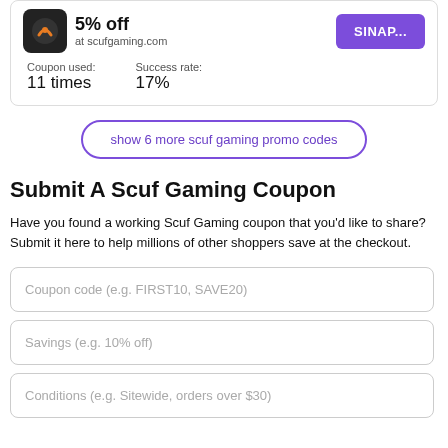[Figure (other): Scuf Gaming store card with logo, URL, coupon used count (11 times), success rate (17%), and a purple SINAP... button]
Coupon used: 11 times
Success rate: 17%
show 6 more scuf gaming promo codes
Submit A Scuf Gaming Coupon
Have you found a working Scuf Gaming coupon that you'd like to share? Submit it here to help millions of other shoppers save at the checkout.
Coupon code (e.g. FIRST10, SAVE20)
Savings (e.g. 10% off)
Conditions (e.g. Sitewide, orders over $30)